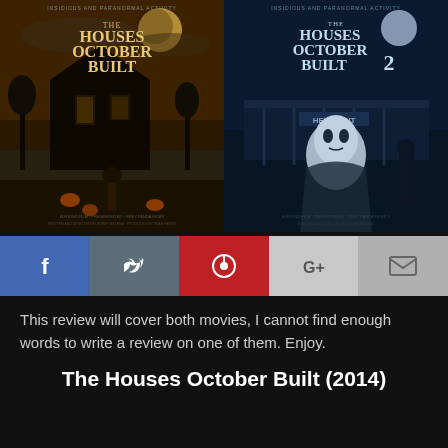[Figure (photo): Two movie posters side by side: left is 'The Houses October Built' (2014) with dark Halloween/haunted house imagery in warm orange tones; right is 'The Houses October Built 2' with a masked figure and blue horror tones. Both posters show text 'Insidious and Paranormal Activity' at the top.]
[Figure (infographic): Social media share bar with five buttons: Facebook (blue, f icon), Twitter (dark blue-grey, bird icon), Pinterest (red, P icon), Google+ (light grey, G+ icon), Email (grey, envelope icon)]
This review will cover both movies, I cannot find enough words to write a review on one of them.  Enjoy.
The Houses October Built (2014)